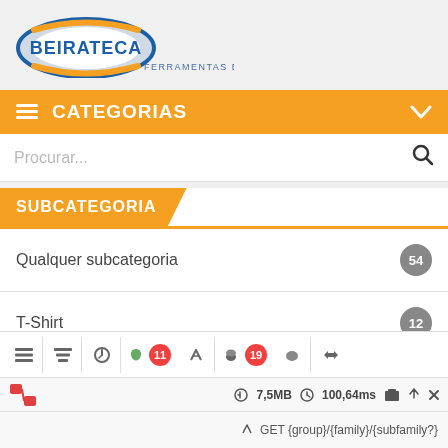[Figure (logo): Beirateca logo with oval blue/orange graphic and text 'BEIRATECA' with tagline 'FERRAMENTAS E ACESSÓRIOS, lda.']
CATEGORIAS
Procurar...
SUBCATEGORIA
Qualquer subcategoria 54
T-Shirt 12
Pullover e Camisola 9
7,5MB   100,64ms   GET {group}/{family}/{subfamily?}